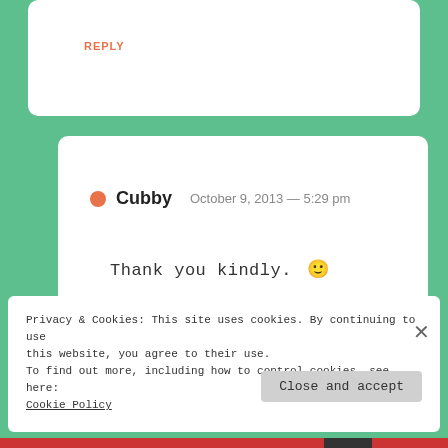REPLY
Cubby  October 9, 2013 — 5:29 pm
Thank you kindly. 🙂
REPLY
Privacy & Cookies: This site uses cookies. By continuing to use this website, you agree to their use.
To find out more, including how to control cookies, see here:
Cookie Policy
Close and accept